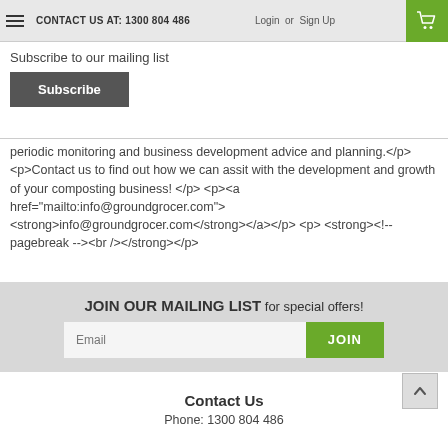CONTACT US AT: 1300 804 486  Login or Sign Up
Subscribe to our mailing list
Subscribe
periodic monitoring and business development advice and planning.</p> <p>Contact us to find out how we can assit with the development and growth of your composting business! </p> <p><a href="mailto:info@groundgrocer.com"> <strong>info@groundgrocer.com</strong></a></p> <p> <strong><!-- pagebreak --><br /></strong></p>
JOIN OUR MAILING LIST for special offers!
Email
JOIN
Contact Us
Phone: 1300 804 486